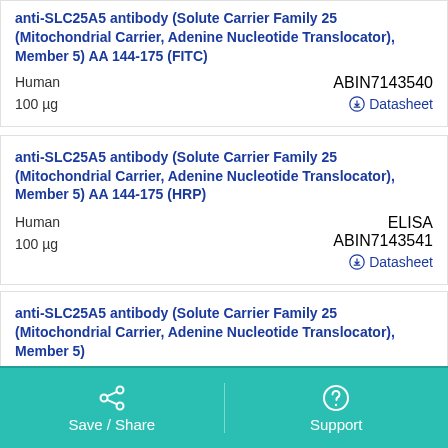anti-SLC25A5 antibody (Solute Carrier Family 25 (Mitochondrial Carrier, Adenine Nucleotide Translocator), Member 5) AA 144-175 (FITC)
Human
100 µg
ABIN7143540
Datasheet
anti-SLC25A5 antibody (Solute Carrier Family 25 (Mitochondrial Carrier, Adenine Nucleotide Translocator), Member 5) AA 144-175 (HRP)
Human
100 µg
ELISA
ABIN7143541
Datasheet
anti-SLC25A5 antibody (Solute Carrier Family 25 (Mitochondrial Carrier, Adenine Nucleotide Translocator), Member 5)
Save / Share    Support